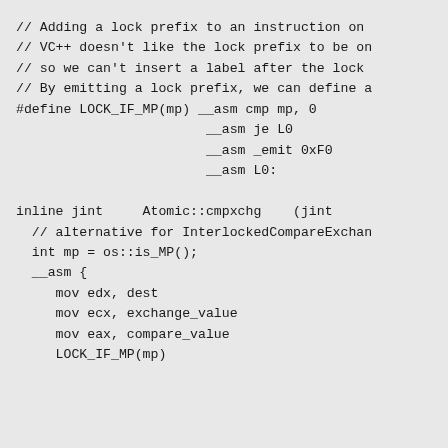// Adding a lock prefix to an instruction on
// VC++ doesn't like the lock prefix to be on
// so we can't insert a label after the lock
// By emitting a lock prefix, we can define a
#define LOCK_IF_MP(mp) __asm cmp mp, 0
                        __asm je L0
                        __asm _emit 0xF0
                        __asm L0:

inline jint     Atomic::cmpxchg    (jint
  // alternative for InterlockedCompareExchan
  int mp = os::is_MP();
  __asm {
     mov edx, dest
     mov ecx, exchange_value
     mov eax, compare_value
     LOCK_IF_MP(mp)